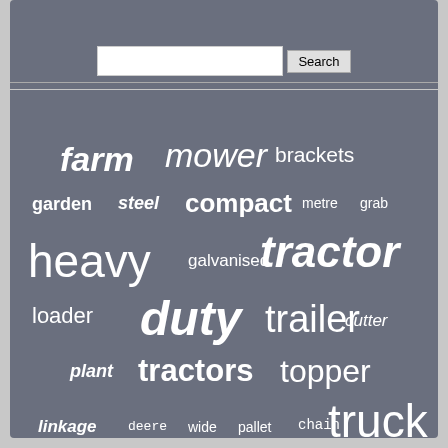[Figure (infographic): Word cloud on grey background with farming/equipment related terms. Largest words: farm, mower, heavy, tractor, duty, trailer, tractors, topper, truck, hydraulic, flail. Smaller words: brackets, garden, steel, compact, metre, grab, galvanised, loader, cutter, plant, linkage, deere, wide, pallet, chain, john, bucket, large, splitter, mounted, bale, cultivator, forks, lawn]
Search (input box with Search button)